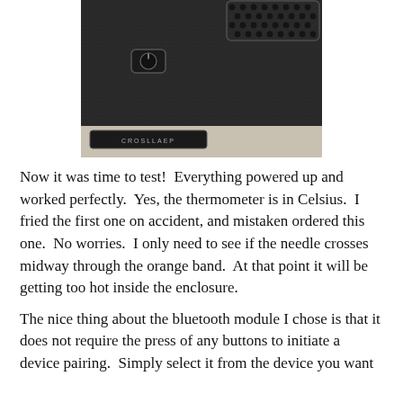[Figure (photo): Close-up photo of the back/side of a black electronic enclosure showing a power button/switch, speaker grille (honeycomb pattern), and what appears to be a card slot or battery compartment at the bottom.]
Now it was time to test!  Everything powered up and worked perfectly.  Yes, the thermometer is in Celsius.  I fried the first one on accident, and mistaken ordered this one.  No worries.  I only need to see if the needle crosses midway through the orange band.  At that point it will be getting too hot inside the enclosure.
The nice thing about the bluetooth module I chose is that it does not require the press of any buttons to initiate a device pairing.  Simply select it from the device you want